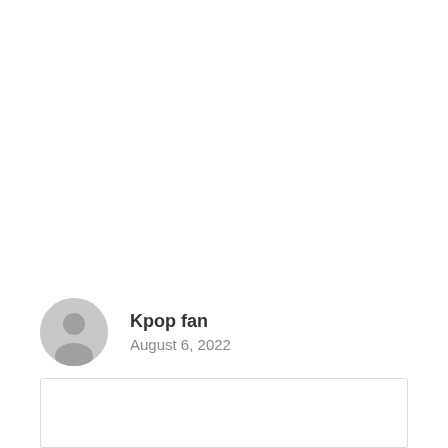[Figure (illustration): Gray circular avatar placeholder icon with a silhouette of a person (head and shoulders)]
Kpop fan
August 6, 2022